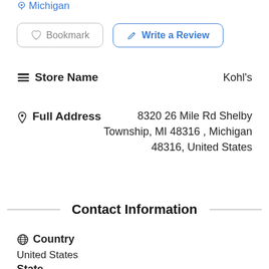Michigan
Bookmark
Write a Review
Store Name    Kohl's
Full Address    8320 26 Mile Rd Shelby Township, MI 48316 , Michigan 48316, United States
Contact Information
Country
United States
State